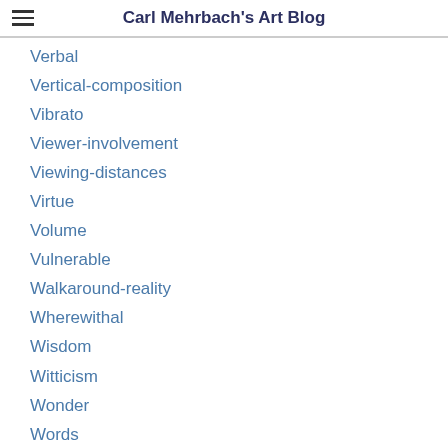Carl Mehrbach's Art Blog
Verbal
Vertical-composition
Vibrato
Viewer-involvement
Viewing-distances
Virtue
Volume
Vulnerable
Walkaround-reality
Wherewithal
Wisdom
Witticism
Wonder
Words
Work
Worry
Wrangle
Wrong